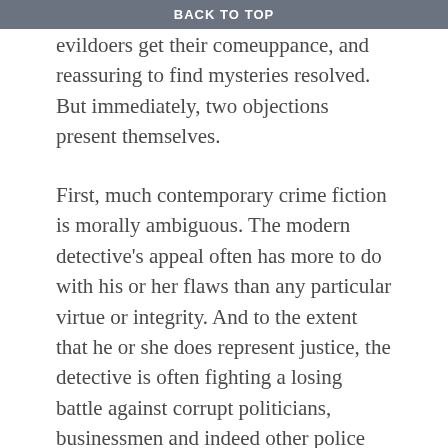BACK TO TOP
evildoers get their comeuppance, and reassuring to find mysteries resolved. But immediately, two objections present themselves.
First, much contemporary crime fiction is morally ambiguous. The modern detective's appeal often has more to do with his or her flaws than any particular virtue or integrity. And to the extent that he or she does represent justice, the detective is often fighting a losing battle against corrupt politicians, businessmen and indeed other police officers.
This grittier form of the genre was pioneered by the American hardboiled school, writers like Dashiell Hammet and Raymond Chandler. As Chandler wrote in his essay, 'The Simple Art of Murder' (1950), 'The realist in murder writes of a world in which gangsters can rule nations and